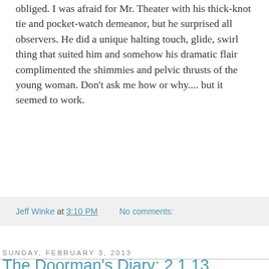obliged. I was afraid for Mr. Theater with his thick-knot tie and pocket-watch demeanor, but he surprised all observers. He did a unique halting touch, glide, swirl thing that suited him and somehow his dramatic flair complimented the shimmies and pelvic thrusts of the young woman. Don't ask me how or why.... but it seemed to work.
Jeff Winke at 3:10 PM    No comments:
Sunday, February 3, 2013
The Doorman's Diary: 2.1.13
[Figure (photo): Colorful abstract painting with swirling patterns in red, orange, yellow, green, blue, and purple colors]